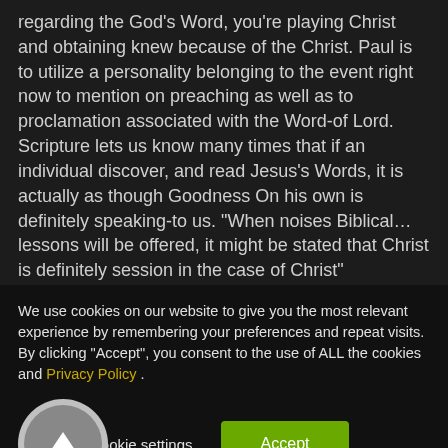regarding the God's Word, you're playing Christ and obtaining knew because of the Christ. Paul is to utilize a personality belonging to the event right now to mention on preaching as well as to proclamation associated with the Word-of Lord. Scripture lets us know many times that if an individual discover, and read Jesus's Words, it is actually as though Goodness On his own is definitely speaking-to us. "When noises Biblical...lessons will be offered, it might be stated that Christ is definitely session in the case of Christ"
We use cookies on our website to give you the most relevant experience by remembering your preferences and repeat visits. By clicking "Accept", you consent to the use of ALL the cookies and Privacy Policy .